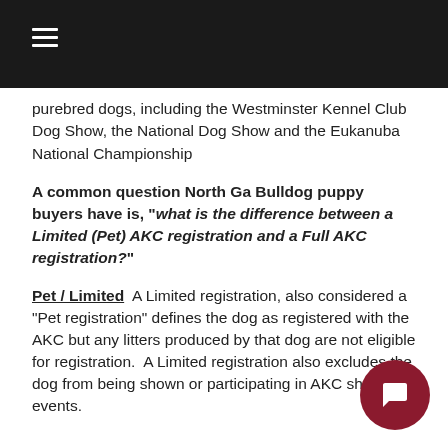≡ (navigation menu)
purebred dogs, including the Westminster Kennel Club Dog Show, the National Dog Show and the Eukanuba National Championship
A common question North Ga Bulldog puppy buyers have is, "what is the difference between a Limited (Pet) AKC registration and a Full AKC registration?"
Pet / Limited  A Limited registration, also considered a "Pet registration" defines the dog as registered with the AKC but any litters produced by that dog are not eligible for registration.  A Limited registration also excludes the dog from being shown or participating in AKC show events.